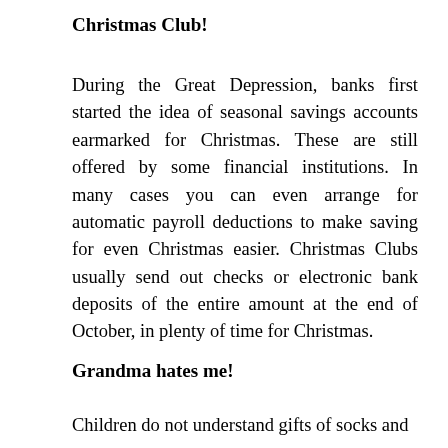Christmas Club!
During the Great Depression, banks first started the idea of seasonal savings accounts earmarked for Christmas. These are still offered by some financial institutions. In many cases you can even arrange for automatic payroll deductions to make saving for even Christmas easier. Christmas Clubs usually send out checks or electronic bank deposits of the entire amount at the end of October, in plenty of time for Christmas.
Grandma hates me!
Children do not understand gifts of socks and